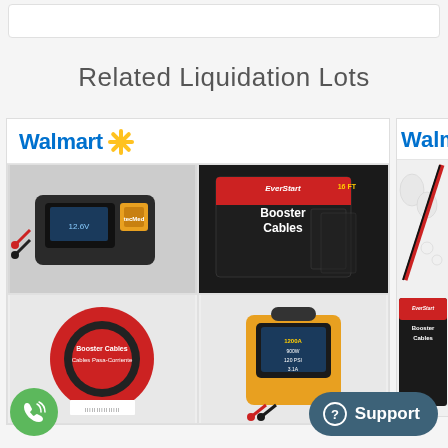Related Liquidation Lots
[Figure (screenshot): Walmart liquidation lot product card showing battery charger, EverStart 16 FT Booster Cables box, circular booster cables, and EverStart jump starter]
[Figure (screenshot): Partially visible second Walmart liquidation lot product card showing sports equipment and EverStart Booster Cables]
[Figure (logo): Green phone/call support button (circular)]
[Figure (other): Dark teal Support button with question mark icon]